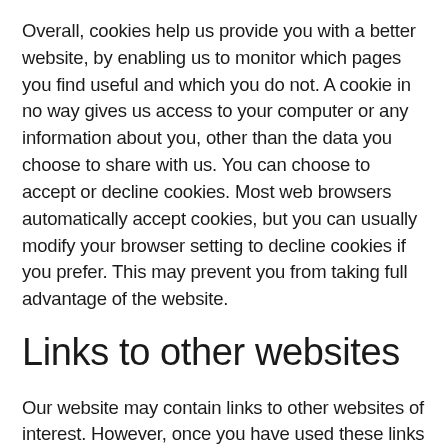Overall, cookies help us provide you with a better website, by enabling us to monitor which pages you find useful and which you do not. A cookie in no way gives us access to your computer or any information about you, other than the data you choose to share with us. You can choose to accept or decline cookies. Most web browsers automatically accept cookies, but you can usually modify your browser setting to decline cookies if you prefer. This may prevent you from taking full advantage of the website.
Links to other websites
Our website may contain links to other websites of interest. However, once you have used these links to leave our site, you should note that we do not have any control over that other website. Therefore, we cannot be responsible for the protection and